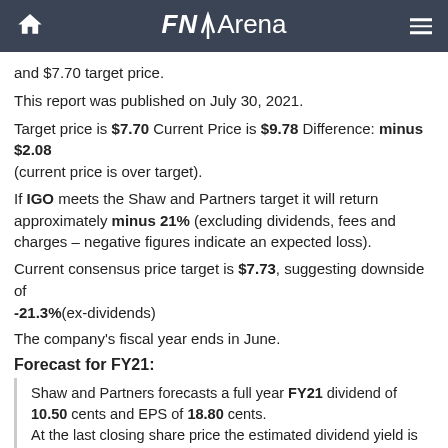FNArena
and $7.70 target price.
This report was published on July 30, 2021.
Target price is $7.70 Current Price is $9.78 Difference: minus $2.08 (current price is over target).
If IGO meets the Shaw and Partners target it will return approximately minus 21% (excluding dividends, fees and charges – negative figures indicate an expected loss).
Current consensus price target is $7.73, suggesting downside of -21.3%(ex-dividends)
The company's fiscal year ends in June.
Forecast for FY21:
Shaw and Partners forecasts a full year FY21 dividend of 10.50 cents and EPS of 18.80 cents.
At the last closing share price the estimated dividend yield is 1.07%.
At the last closing share price the stock's estimated Price to Earnings Ratio (PER) is 52.02